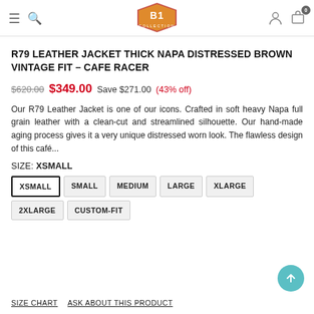B1 Collection (logo)
R79 LEATHER JACKET THICK NAPA DISTRESSED BROWN VINTAGE FIT – CAFE RACER
$620.00  $349.00  Save $271.00  (43% off)
Our R79 Leather Jacket is one of our icons. Crafted in soft heavy Napa full grain leather with a clean-cut and streamlined silhouette. Our hand-made aging process gives it a very unique distressed worn look. The flawless design of this café...
SIZE: XSMALL
XSMALL
SMALL
MEDIUM
LARGE
XLARGE
2XLARGE
CUSTOM-FIT
SIZE CHART    ASK ABOUT THIS PRODUCT